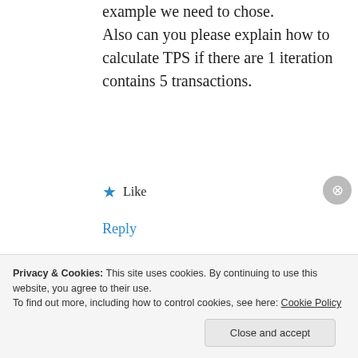example we need to chose. Also can you please explain how to calculate TPS if there are 1 iteration contains 5 transactions.
★ Like
Reply
[Figure (photo): Avatar photo of The Performance Engineer — silhouette of a figure against a light sky background]
The Performance Engineer
January 18, 2016 at 7:36 pm
Hi Ruchi,
Privacy & Cookies: This site uses cookies. By continuing to use this website, you agree to their use.
To find out more, including how to control cookies, see here: Cookie Policy
Close and accept